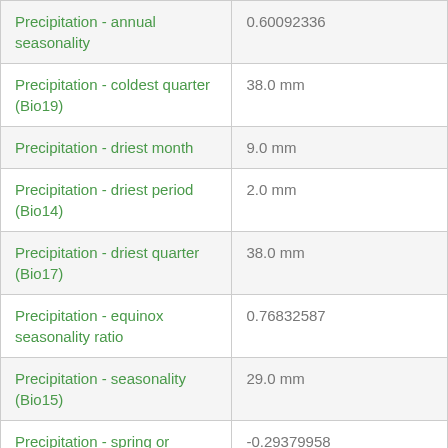| Precipitation - annual seasonality | 0.60092336 |
| Precipitation - coldest quarter (Bio19) | 38.0 mm |
| Precipitation - driest month | 9.0 mm |
| Precipitation - driest period (Bio14) | 2.0 mm |
| Precipitation - driest quarter (Bio17) | 38.0 mm |
| Precipitation - equinox seasonality ratio | 0.76832587 |
| Precipitation - seasonality (Bio15) | 29.0 mm |
| Precipitation - spring or autumn season | -0.29379958 |
| Precipitation - warmest quarter (Bio18) | 68.0 mm |